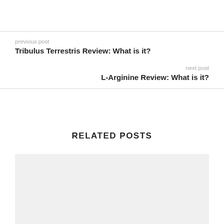previous post
Tribulus Terrestris Review: What is it?
next post
L-Arginine Review: What is it?
RELATED POSTS
[Figure (photo): Gray placeholder image for a related post thumbnail]